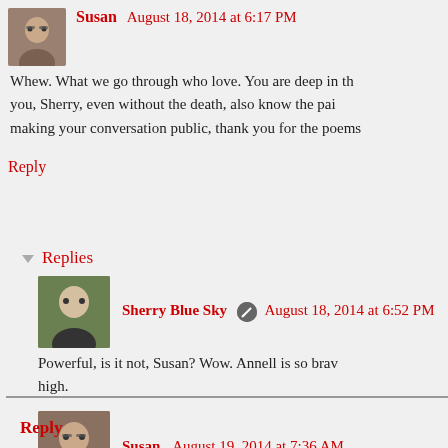Susan  August 18, 2014 at 6:17 PM
Whew. What we go through who love. You are deep in th... you, Sherry, even without the death, also know the pai... making your conversation public, thank you for the poems ...
Reply
Replies
Sherry Blue Sky  August 18, 2014 at 6:52 PM
Powerful, is it not, Susan? Wow. Annell is so brav... high.
Susan  August 19, 2014 at 7:36 AM
I wonder if Toni and Jacob have remained part of a... shy about asking.
Reply